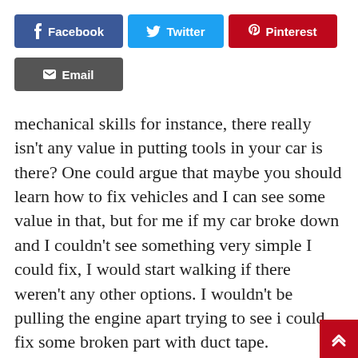[Figure (infographic): Social sharing buttons: Facebook (blue), Twitter (cyan), Pinterest (red), Email (dark gray)]
mechanical skills for instance, there really isn't any value in putting tools in your car is there? One could argue that maybe you should learn how to fix vehicles and I can see some value in that, but for me if my car broke down and I couldn't see something very simple I could fix, I would start walking if there weren't any other options. I wouldn't be pulling the engine apart trying to see if could fix some broken part with duct tape.